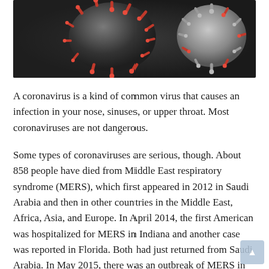[Figure (photo): Microscopic image of coronavirus particles against a dark background, showing red spiky spherical virus structures]
A coronavirus is a kind of common virus that causes an infection in your nose, sinuses, or upper throat. Most coronaviruses are not dangerous.
Some types of coronaviruses are serious, though. About 858 people have died from Middle East respiratory syndrome (MERS), which first appeared in 2012 in Saudi Arabia and then in other countries in the Middle East, Africa, Asia, and Europe. In April 2014, the first American was hospitalized for MERS in Indiana and another case was reported in Florida. Both had just returned from Saudi Arabia. In May 2015, there was an outbreak of MERS in Korea, which was the largest outbreak outside of the Arabian Peninsula. In 2003, 774 people died from a severe acute respiratory syndrome (SARS) outbreak. As of 2015,